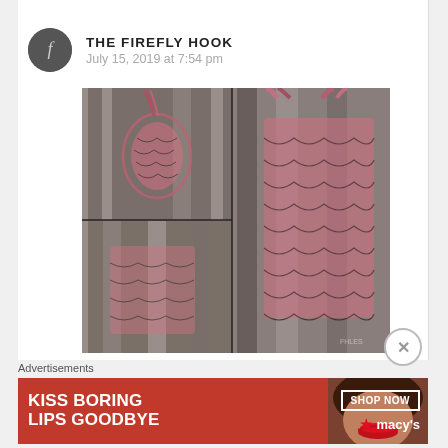THE FIREFLY HOOK — July 15, 2019 at 7:54 pm
[Figure (photo): Photo collage of crocheted bags hanging on a wooden fence, showing multicolor pink/gray/black crochet tote bags from multiple angles]
Advertisements
[Figure (photo): Macy's advertisement banner: KISS BORING LIPS GOODBYE — SHOP NOW — macy's logo with star, featuring close-up of woman's face with red lips]